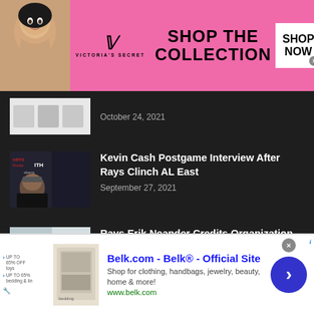[Figure (advertisement): Victoria's Secret advertisement banner with model, VS logo, SHOP THE COLLECTION text, and SHOP NOW button]
October 24, 2021
Kevin Cash Postgame Interview After Rays Clinch AL East
September 27, 2021
Rays Erik Neander Credits Organization With Team's Success
September 26, 2021
Rock Riley Talks Gators With Johnny
[Figure (advertisement): Belk.com advertisement with Belk logo, Shop for clothing handbags jewelry beauty home and more, www.belk.com URL, and navigation arrow button]